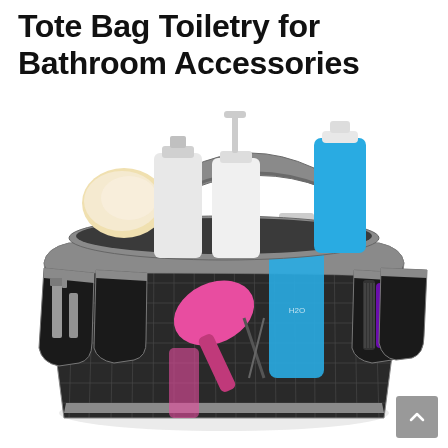Tote Bag Toiletry for Bathroom Accessories
[Figure (photo): A mesh shower caddy tote bag filled with toiletry items including shampoo bottles, a pump dispenser bottle, a blue body wash bottle, a loofah, a pink paddle brush, a hair comb/brush, and small spray bottles in the side pockets. The bag has gray trim and a carrying handle.]